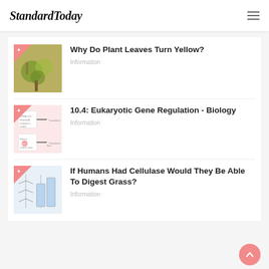StandardToday
Why Do Plant Leaves Turn Yellow?
Information
10.4: Eukaryotic Gene Regulation - Biology
Information
If Humans Had Cellulase Would They Be Able To Digest Grass?
Information